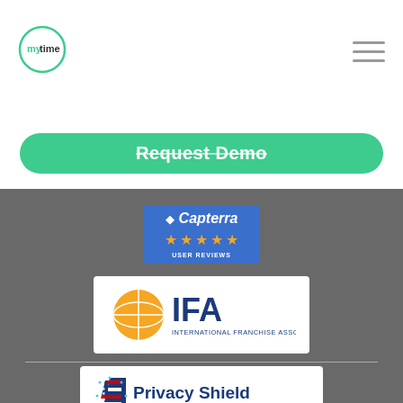[Figure (logo): MyTime logo — circle with 'my' in teal and 'time' in dark text]
[Figure (other): Hamburger menu icon (three horizontal lines)]
[Figure (other): Green rounded rectangle CTA button with text 'Request Demo']
[Figure (other): Capterra 5-star User Reviews badge — blue background, gold stars]
[Figure (logo): IFA International Franchise Association logo — orange globe with blue IFA text]
[Figure (logo): Privacy Shield Framework badge — shield with US flag design]